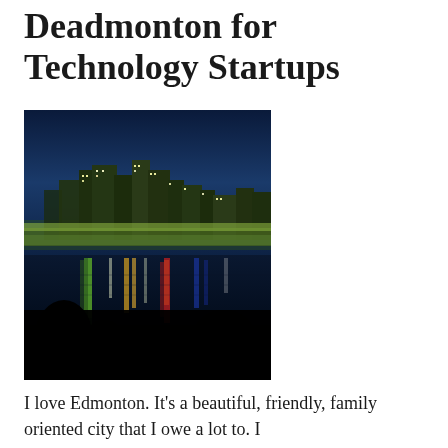Deadmonton for Technology Startups
[Figure (photo): Night skyline of Edmonton, Alberta, Canada, reflected in a river with colorful lights including green, yellow, red, and blue reflections. Tree silhouettes in the foreground, deep blue sky above the city buildings.]
I love Edmonton. It's a beautiful, friendly, family oriented city that I owe a lot to. I